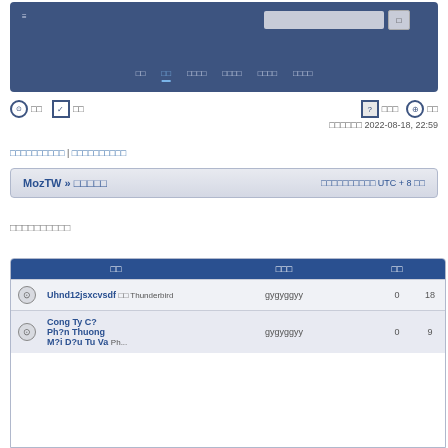[Figure (screenshot): Navigation bar with search box and menu items]
⊙ □□  ✓ □□    ? □□□  ⊕ □□
□□□□□□ 2022-08-18, 22:59
□□□□□□□□□□ | □□□□□□□□□□
|  | □□ | □□□ | □□ |  |
| --- | --- | --- | --- | --- |
| ⊙ | Uhnd12jsxcvsdf
□□ Thunderbird | gygyggyy | 0 | 18 |
| ⊙ | Cong Ty C?
Ph?n Thuong
M?i D?u Tu Va
Ph... | gygyggyy | 0 | 9 |